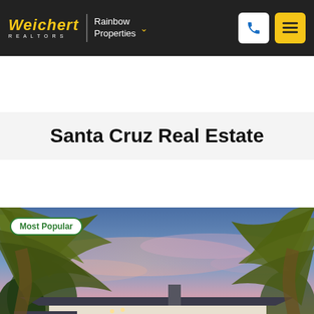Weichert Realtors | Rainbow Properties
Santa Cruz Real Estate
[Figure (photo): Exterior photo of a single-story white house with warm interior lighting at dusk, framed by palm tree fronds in the foreground. Pink and blue sunset sky in the background. Badge reading 'Most Popular' in top-left corner. Address overlay '1015 King Street' at bottom left.]